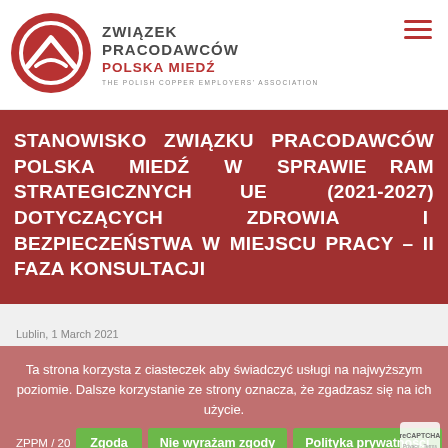[Figure (logo): Związek Pracodawców Polska Miedź logo — circular red icon with abstract mountain/copper symbol, with organization name to the right]
STANOWISKO ZWIĄZKU PRACODAWCÓW POLSKA MIEDŹ W SPRAWIE RAM STRATEGICZNYCH UE (2021-2027) DOTYCZĄCYCH ZDROWIA I BEZPIECZEŃSTWA W MIEJSCU PRACY – II FAZA KONSULTACJI
Ta strona korzysta z ciasteczek aby świadczyć usługi na najwyższym poziomie. Dalsze korzystanie ze strony oznacza, że zgadzasz się na ich użycie.
ZPPM / 20...